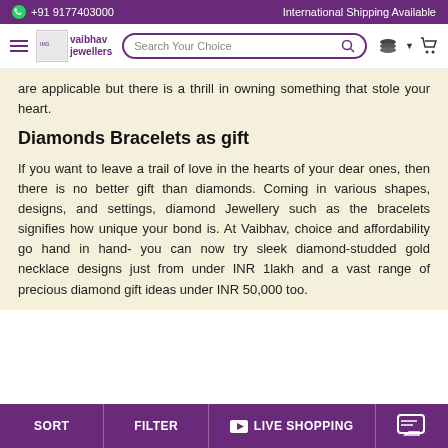+91 9177403000 | International Shipping Available
[Figure (logo): Vaibhav Jewellers logo with hamburger menu and search bar with coins and cart icons]
are applicable but there is a thrill in owning something that stole your heart.
Diamonds Bracelets as gift
If you want to leave a trail of love in the hearts of your dear ones, then there is no better gift than diamonds. Coming in various shapes, designs, and settings, diamond Jewellery such as the bracelets signifies how unique your bond is. At Vaibhav, choice and affordability go hand in hand- you can now try sleek diamond-studded gold necklace designs just from under INR 1lakh and a vast range of precious diamond gift ideas under INR 50,000 too.
SORT | FILTER | LIVE SHOPPING | [chat]